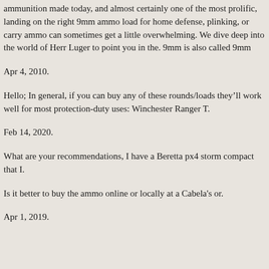ammunition made today, and almost certainly one of the most prolific, landing on the right 9mm ammo load for home defense, plinking, or carry ammo can sometimes get a little overwhelming. We dive deep into the world of Herr Luger to point you in the. 9mm is also called 9mm
Apr 4, 2010.
Hello; In general, if you can buy any of these rounds/loads they'll work well for most protection-duty uses: Winchester Ranger T.
Feb 14, 2020.
What are your recommendations, I have a Beretta px4 storm compact that I.
Is it better to buy the ammo online or locally at a Cabela's or.
Apr 1, 2019.